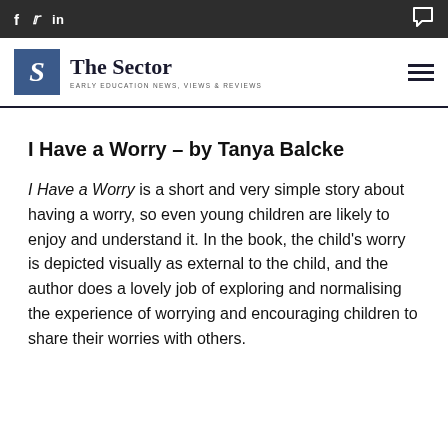f  twitter  in  [comment icon]
[Figure (logo): The Sector logo — blue square with italic S, beside bold text 'The Sector' and subtitle 'EARLY EDUCATION NEWS, VIEWS & REVIEWS']
I Have a Worry – by Tanya Balcke
I Have a Worry is a short and very simple story about having a worry, so even young children are likely to enjoy and understand it. In the book, the child's worry is depicted visually as external to the child, and the author does a lovely job of exploring and normalising the experience of worrying and encouraging children to share their worries with others.